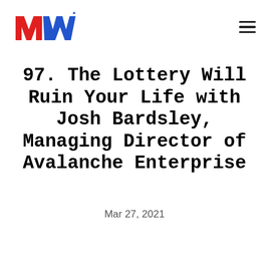[Figure (logo): MooreMomentum logo — stylized M and W letters in red and blue with 'MOOREMOMENTUM' text below in red]
97. The Lottery Will Ruin Your Life with Josh Bardsley, Managing Director of Avalanche Enterprise
Mar 27, 2021